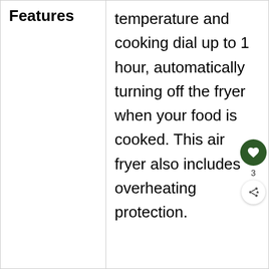| Features |  |
| --- | --- |
| Features | temperature and cooking dial up to 1 hour, automatically turning off the fryer when your food is cooked. This air fryer also includes overheating protection. |